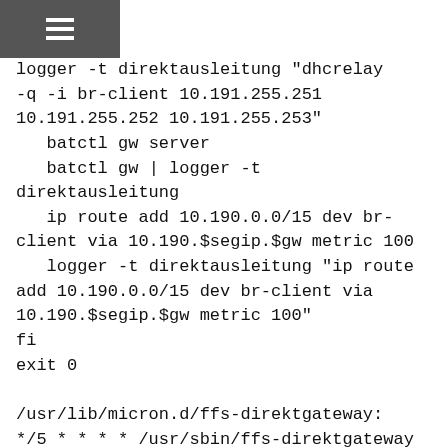logger -t direktausleitung "dhcrelay -q -i br-client 10.191.255.251 10.191.255.252 10.191.255.253"
  batctl gw server
  batctl gw | logger -t direktausleitung
  ip route add 10.190.0.0/15 dev br-client via 10.190.$segip.$gw metric 100
  logger -t direktausleitung "ip route add 10.190.0.0/15 dev br-client via 10.190.$segip.$gw metric 100"
fi
exit 0

/usr/lib/micron.d/ffs-direktgateway:
*/5 * * * * /usr/sbin/ffs-direktgateway